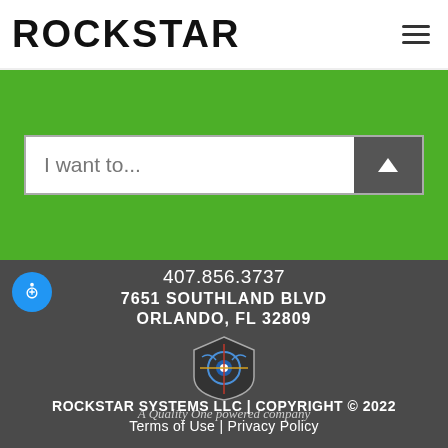[Figure (logo): Rockstar logo with stylized guitar pick shape and ROCKSTAR text in bold black letters]
[Figure (screenshot): Search bar with placeholder text 'I want to...' and a dark up-arrow button]
407.856.3737
7651 SOUTHLAND BLVD
ORLANDO, FL 32809
[Figure (logo): Quality One logo: guitar pick shield shape with circular emblem inside, colored lines]
A Quality One powered company
ROCKSTAR SYSTEMS LLC | COPYRIGHT © 2022
Terms of Use | Privacy Policy